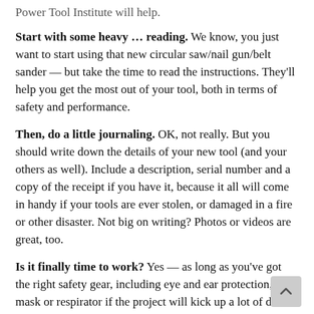Power Tool Institute will help.
Start with some heavy ... reading. We know, you just want to start using that new circular saw/nail gun/belt sander — but take the time to read the instructions. They'll help you get the most out of your tool, both in terms of safety and performance.
Then, do a little journaling. OK, not really. But you should write down the details of your new tool (and your others as well). Include a description, serial number and a copy of the receipt if you have it, because it all will come in handy if your tools are ever stolen, or damaged in a fire or other disaster. Not big on writing? Photos or videos are great, too.
Is it finally time to work? Yes — as long as you've got the right safety gear, including eye and ear protection, a mask or respirator if the project will kick up a lot of dust or other fine debris, and protective clothing that isn't loose.
But don't rush things. Working too quickly can lead to injuries. Always stay in control by making sure your work